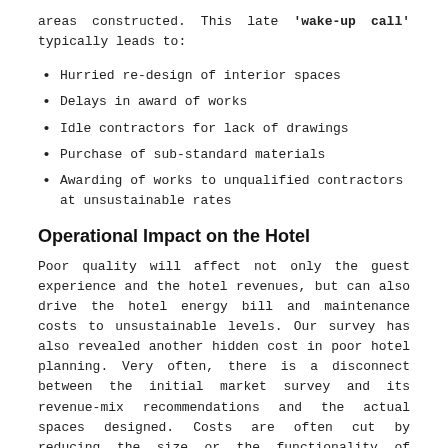areas constructed. This late 'wake-up call' typically leads to:
Hurried re-design of interior spaces
Delays in award of works
Idle contractors for lack of drawings
Purchase of sub-standard materials
Awarding of works to unqualified contractors at unsustainable rates
Operational Impact on the Hotel
Poor quality will affect not only the guest experience and the hotel revenues, but can also drive the hotel energy bill and maintenance costs to unsustainable levels. Our survey has also revealed another hidden cost in poor hotel planning. Very often, there is a disconnect between the initial market survey and its revenue-mix recommendations and the actual spaces designed. Costs are often cut by reducing the size or the functionality of genuine revenue-generating areas (e.g. meeting rooms) whilst other non-revenue or low